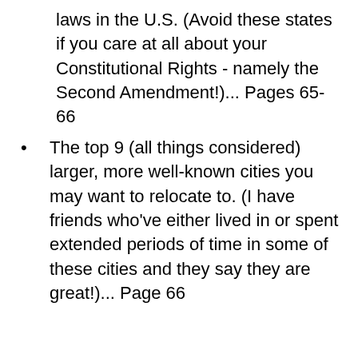laws in the U.S. (Avoid these states if you care at all about your Constitutional Rights - namely the Second Amendment!)... Pages 65-66
The top 9 (all things considered) larger, more well-known cities you may want to relocate to. (I have friends who've either lived in or spent extended periods of time in some of these cities and they say they are great!)... Page 66